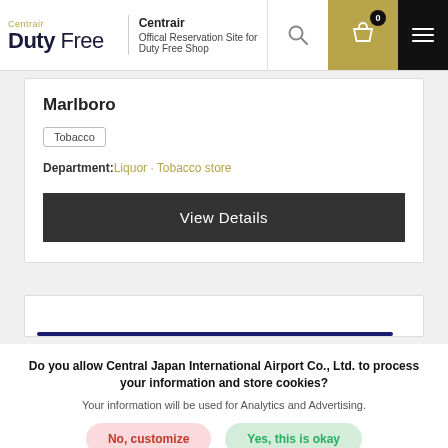Centrair Duty Free - Official Reservation Site for Duty Free Shop
Marlboro
Tobacco
Department: Liquor · Tobacco store
View Details
Do you allow Central Japan International Airport Co., Ltd. to process your information and store cookies?
Your information will be used for Analytics and Advertising.
No, customize
Yes, this is okay